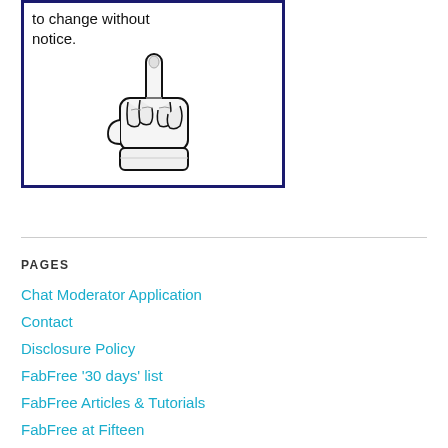[Figure (illustration): A hand with index finger pointing upward, inside a dark blue bordered box, with handwritten text reading 'to change without notice.']
Chat Moderator Application
Contact
Disclosure Policy
FabFree ‘30 days’ list
FabFree Articles & Tutorials
FabFree at Fifteen